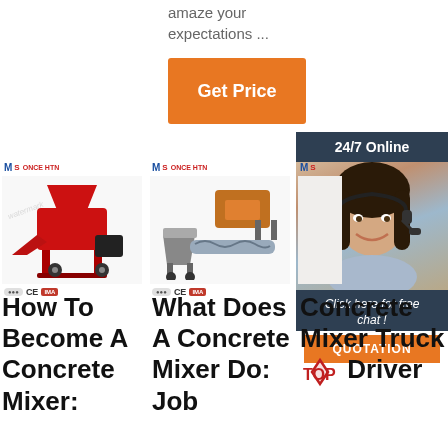amaze your expectations ...
Get Price
[Figure (photo): Customer service agent with headset, 24/7 Online chat widget with QUOTATION button]
[Figure (photo): Red concrete mixer machine product image with MS ONCE HTN logo and CE certification marks]
[Figure (photo): Industrial screw conveyor / concrete equipment product image with MS ONCE HTN logo and CE certification marks]
How To Become A Concrete Mixer:
What Does A Concrete Mixer Do: Job
Concrete Mixer Truck Driver